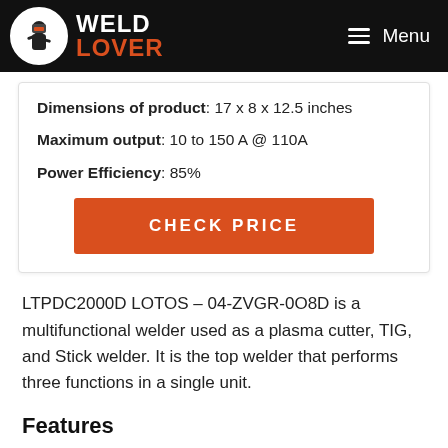WELD LOVER — Menu
Dimensions of product: 17 x 8 x 12.5 inches
Maximum output: 10 to 150 A @ 110A
Power Efficiency: 85%
CHECK PRICE
LTPDC2000D LOTOS – 04-ZVGR-0O8D is a multifunctional welder used as a plasma cutter, TIG, and Stick welder. It is the top welder that performs three functions in a single unit.
Features